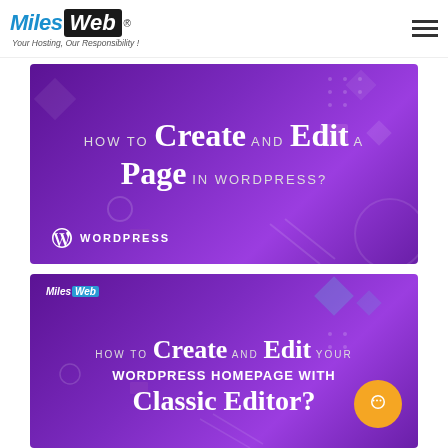MilesWeb — Your Hosting, Our Responsibility!
[Figure (illustration): Purple gradient banner with geometric shapes. Title text: 'HOW TO Create AND Edit A Page IN WORDPRESS?' with WordPress logo at bottom left.]
[Figure (illustration): Purple gradient banner with geometric shapes and MilesWeb logo. Title text: 'HOW TO Create AND Edit YOUR WORDPRESS HOMEPAGE WITH Classic Editor?' with orange chat button at bottom right.]